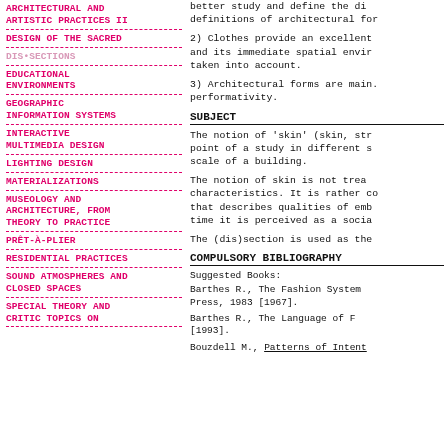ARCHITECTURAL AND ARTISTIC PRACTICES II
DESIGN OF THE SACRED
DIS•SECTIONS
EDUCATIONAL ENVIRONMENTS
GEOGRAPHIC INFORMATION SYSTEMS
INTERACTIVE MULTIMEDIA DESIGN
LIGHTING DESIGN
MATERIALIZATIONS
MUSEOLOGY AND ARCHITECTURE, FROM THEORY TO PRACTICE
PRÊT-À-PLIER
RESIDENTIAL PRACTICES
SOUND ATMOSPHERES AND CLOSED SPACES
SPECIAL THEORY AND CRITIC TOPICS ON
better study and define the di definitions of architectural for
2) Clothes provide an excellent and its immediate spatial envir taken into account.
3) Architectural forms are main performativity.
SUBJECT
The notion of 'skin' (skin, str point of a study in different s scale of a building.
The notion of skin is not trea characteristics. It is rather co that describes qualities of emb time it is perceived as a socia
The (dis)section is used as the
COMPULSORY BIBLIOGRAPHY
Suggested Books:
Barthes R., The Fashion System Press, 1983 [1967].
Barthes R., The Language of F [1993].
Bouzdell M., Patterns of Intent